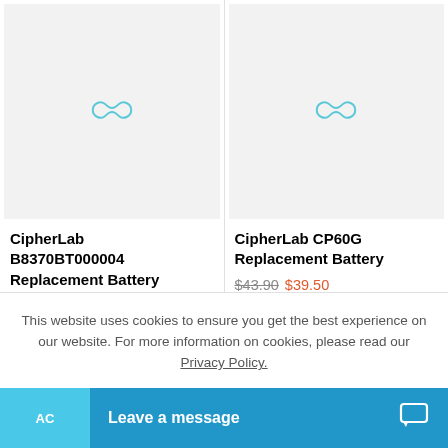[Figure (illustration): Product placeholder image with teal infinity/loading spinner icon on light gray background - left product card]
[Figure (illustration): Product placeholder image with teal infinity/loading spinner icon on light gray background - right product card]
CipherLab B8370BT000004 Replacement Battery
CipherLab CP60G Replacement Battery $43.90 $39.50
This website uses cookies to ensure you get the best experience on our website. For more information on cookies, please read our Privacy Policy.
Leave a message